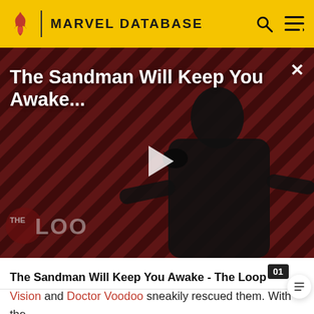MARVEL DATABASE
[Figure (screenshot): Video thumbnail for 'The Sandman Will Keep You Awake... - The Loop' showing a figure in black robes against a diagonal striped red/dark background with a play button overlay and 'THE LOOP' watermark]
The Sandman Will Keep You Awake - The Loop
Vision and Doctor Voodoo sneakily rescued them. With the civilians and S.H.I.E.L.D. staff safe, both teams of Avengers proceeded to confront Zemo directly. His army